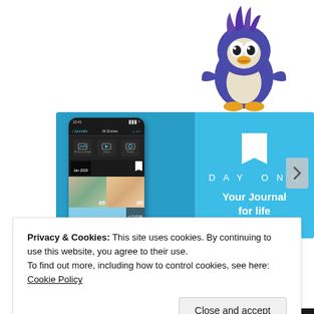[Figure (illustration): Cartoon mascot character resembling a blue penguin/bird with purple spiky hair, gold beak, and dark eyes, positioned at top right of the page, partially cut off at top]
[Figure (screenshot): DayOne app promotional banner. Left side shows a smartphone screenshot of the DayOne journal app with a dark UI showing photo grid entries dated Jan 2020. Right side has a light blue background with a white bookmark icon, 'DAY ONE' text in spaced letters, and 'Your Journal for life' in bold white text.]
Privacy & Cookies: This site uses cookies. By continuing to use this website, you agree to their use.
To find out more, including how to control cookies, see here: Cookie Policy
Close and accept